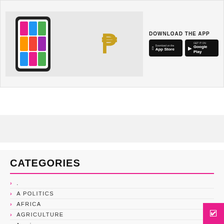[Figure (illustration): App advertisement banner showing a smartphone with app UI, a golden peso/bitcoin symbol, and DOWNLOAD THE APP text with App Store and Google Play badges]
CATEGORIES
.
A POLITICS
AFRICA
AGRICULTURE
America
ART & NTERTAINMENT